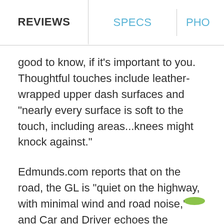REVIEWS | SPECS | PHO
good to know, if it's important to you. Thoughtful touches include leather-wrapped upper dash surfaces and "nearly every surface is soft to the touch, including areas...knees might knock against."
Edmunds.com reports that on the road, the GL is "quiet on the highway, with minimal wind and road noise," and Car and Driver echoes the sentiment, saying "the GL is exceptionally quiet."